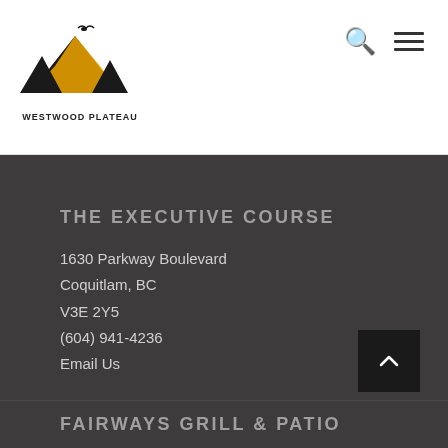[Figure (logo): Westwood Plateau golf course logo with mountain silhouette and bird, black and orange/gold colors]
WESTWOOD PLATEAU
THE EXECUTIVE COURSE
1630 Parkway Boulevard
Coquitlam, BC
V3E 2Y5
(604) 941-4236
Email Us
FAIRWAYS GRILL & PATIO